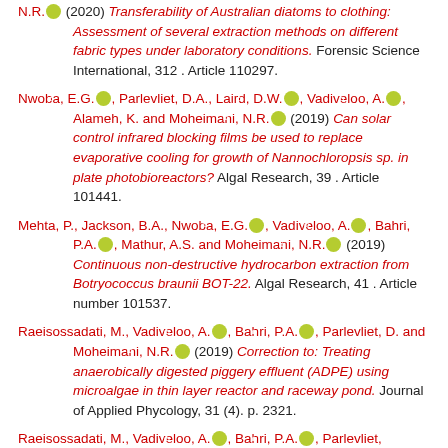N.R. [orcid] (2020) Transferability of Australian diatoms to clothing: Assessment of several extraction methods on different fabric types under laboratory conditions. Forensic Science International, 312 . Article 110297.
Nwoba, E.G.[orcid], Parlevliet, D.A., Laird, D.W.[orcid], Vadiveloo, A.[orcid], Alameh, K. and Moheimani, N.R.[orcid] (2019) Can solar control infrared blocking films be used to replace evaporative cooling for growth of Nannochloropsis sp. in plate photobioreactors? Algal Research, 39 . Article 101441.
Mehta, P., Jackson, B.A., Nwoba, E.G.[orcid], Vadiveloo, A.[orcid], Bahri, P.A.[orcid], Mathur, A.S. and Moheimani, N.R.[orcid] (2019) Continuous non-destructive hydrocarbon extraction from Botryococcus braunii BOT-22. Algal Research, 41 . Article number 101537.
Raeisossadati, M., Vadiveloo, A.[orcid], Bahri, P.A.[orcid], Parlevliet, D. and Moheimani, N.R.[orcid] (2019) Correction to: Treating anaerobically digested piggery effluent (ADPE) using microalgae in thin layer reactor and raceway pond. Journal of Applied Phycology, 31 (4). p. 2321.
Raeisossadati, M., Vadiveloo, A.[orcid], Bahri, P.A.[orcid], Parlevliet, ...